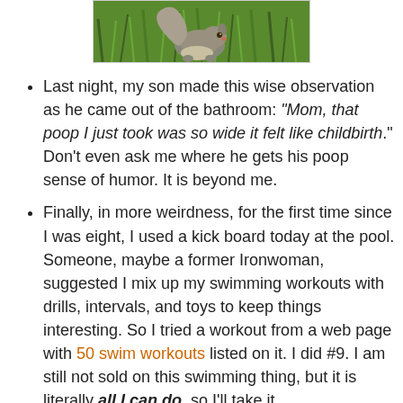[Figure (photo): Photo of a squirrel sitting in green grass, cropped showing top portion]
Last night, my son made this wise observation as he came out of the bathroom: "Mom, that poop I just took was so wide it felt like childbirth." Don't even ask me where he gets his poop sense of humor. It is beyond me.
Finally, in more weirdness, for the first time since I was eight, I used a kick board today at the pool. Someone, maybe a former Ironwoman, suggested I mix up my swimming workouts with drills, intervals, and toys to keep things interesting. So I tried a workout from a web page with 50 swim workouts listed on it. I did #9. I am still not sold on this swimming thing, but it is literally all I can do, so I'll take it.
Let me tell you something. There is a lot of crazy jargon in swimming. Like "pull" and "kick" and "IM" and "ladder" and